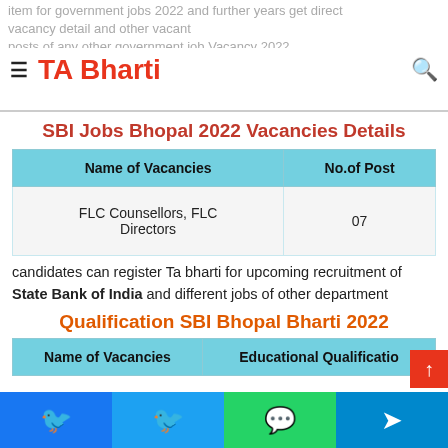item for government jobs 2022 and further years get direct vacancy detail and other vacant posts of any other government job Vacancy 2022
TA Bharti
SBI Jobs Bhopal 2022 Vacancies Details
| Name of Vacancies | No.of Post |
| --- | --- |
| FLC Counsellors, FLC Directors | 07 |
candidates can register Ta bharti for upcoming recruitment of State Bank of India and different jobs of other department
Qualification SBI Bhopal Bharti 2022
| Name of Vacancies | Educational Qualificatio... |
| --- | --- |